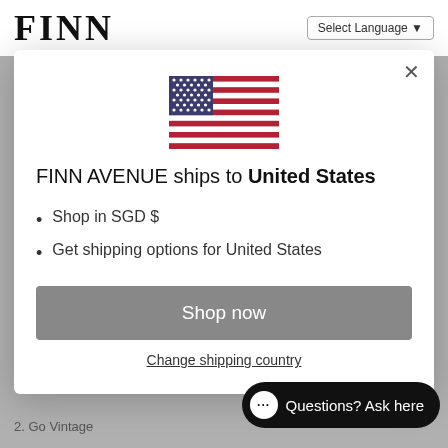FINN | Select Language
[Figure (illustration): US flag SVG illustration]
FINN AVENUE ships to United States
Shop in SGD $
Get shipping options for United States
Shop now
Change shipping country
Questions? Ask here